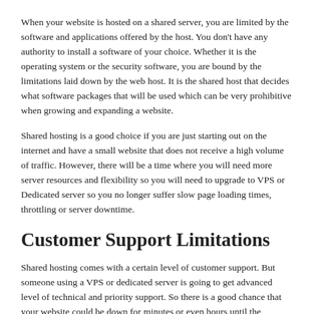When your website is hosted on a shared server, you are limited by the software and applications offered by the host. You don't have any authority to install a software of your choice. Whether it is the operating system or the security software, you are bound by the limitations laid down by the web host. It is the shared host that decides what software packages that will be used which can be very prohibitive when growing and expanding a website.
Shared hosting is a good choice if you are just starting out on the internet and have a small website that does not receive a high volume of traffic. However, there will be a time where you will need more server resources and flexibility so you will need to upgrade to VPS or Dedicated server so you no longer suffer slow page loading times, throttling or server downtime.
Customer Support Limitations
Shared hosting comes with a certain level of customer support. But someone using a VPS or dedicated server is going to get advanced level of technical and priority support. So there is a good chance that your website could be down for minutes or even hours until the technical support gets around to resolve the issue.